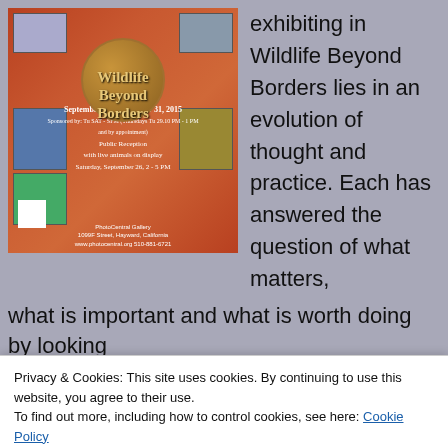[Figure (photo): Poster for 'Wildlife Beyond Borders' exhibition at PhotoCentral Gallery, September 24 - December 31, 2015, featuring a globe and multiple wildlife photos on a red-orange background. Includes public reception on Saturday September 26, 2-5 PM.]
exhibiting in Wildlife Beyond Borders lies in an evolution of thought and practice. Each has answered the question of what matters, what is important and what is worth doing by looking
Privacy & Cookies: This site uses cookies. By continuing to use this website, you agree to their use.
To find out more, including how to control cookies, see here: Cookie Policy
(Eleven Artists: Mary Aiu, Susan Carnahan, Jim